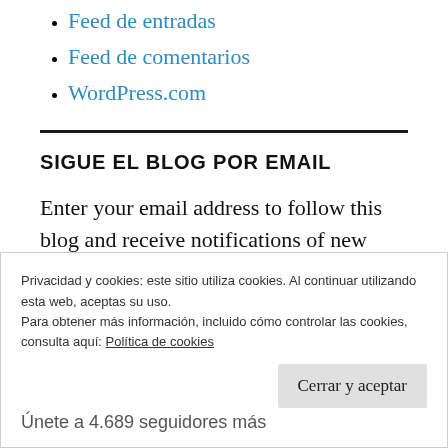Feed de entradas
Feed de comentarios
WordPress.com
SIGUE EL BLOG POR EMAIL
Enter your email address to follow this blog and receive notifications of new posts by email.
Privacidad y cookies: este sitio utiliza cookies. Al continuar utilizando esta web, aceptas su uso.
Para obtener más información, incluido cómo controlar las cookies, consulta aquí: Política de cookies
Cerrar y aceptar
Únete a 4.689 seguidores más